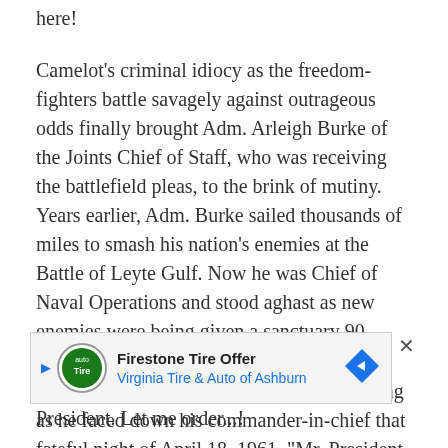here!
Camelot's criminal idiocy as the freedom-fighters battle savagely against outrageous odds finally brought Adm. Arleigh Burke of the Joints Chief of Staff, who was receiving the battlefield pleas, to the brink of mutiny. Years earlier, Adm. Burke sailed thousands of miles to smash his nation's enemies at the Battle of Leyte Gulf. Now he was Chief of Naval Operations and stood aghast as new enemies were being given a sanctuary 90 miles away!
The fighting admiral was livid. They say his face was beet red and his facial veins popping as he faced down his commander-in-chief that fateful night of April 18, 1961. "Mr. President, TWO planes from th
[Figure (infographic): Advertisement for Firestone Tire Offer - Virginia Tire & Auto of Ashburn]
President. Let me order...!